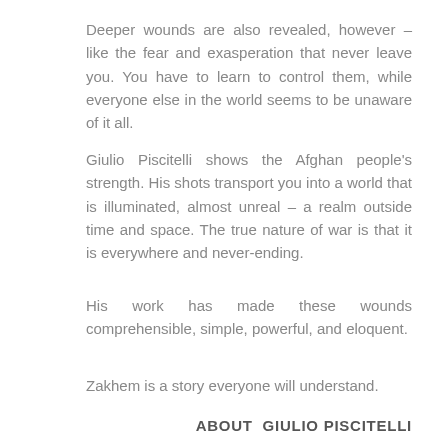Deeper wounds are also revealed, however – like the fear and exasperation that never leave you. You have to learn to control them, while everyone else in the world seems to be unaware of it all.
Giulio Piscitelli shows the Afghan people's strength. His shots transport you into a world that is illuminated, almost unreal – a realm outside time and space. The true nature of war is that it is everywhere and never-ending.
His work has made these wounds comprehensible, simple, powerful, and eloquent.
Zakhem is a story everyone will understand.
ABOUT  GIULIO PISCITELLI
...